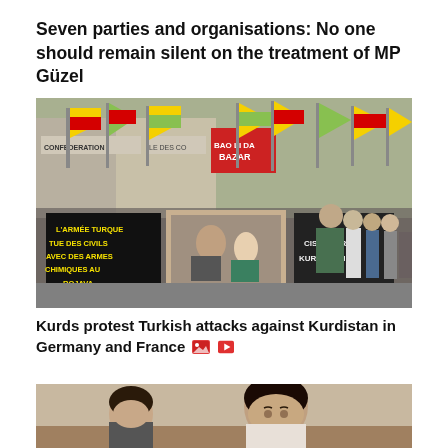Seven parties and organisations: No one should remain silent on the treatment of MP Güzel
[Figure (photo): Crowd of protesters marching on a street, carrying yellow-green YPG/YPJ flags and banners. One banner reads 'L'ARMÉE TURQUE TUE DES CIVILS AVEC DES ARMES CHIMIQUES AU ROJAVA'. Another banner reads 'CISTE TURC KURDISTAN'. Protesters are lined up along a city street with buildings in the background.]
Kurds protest Turkish attacks against Kurdistan in Germany and France 🖼 🎥
[Figure (photo): Partial image of two women seated, one with dark hair in the foreground, another partially visible to the left.]